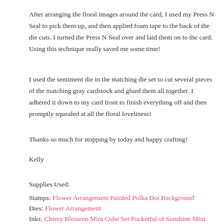After arranging the floral images around the card, I used my Press N Seal to pick them up, and then applied foam tape to the back of the die cuts. I turned the Press N Seal over and laid them on to the card. Using this technique really saved me some time!
I used the sentiment die in the matching die set to cut several pieces of the matching gray cardstock and glued them all together. I adhered it down to my card front to finish everything off and then promptly squealed at all the floral loveliness!
Thanks so much for stopping by today and happy crafting!
Kelly
Supplies Used:
Stamps: Flower Arrangement Painted Polka Dot Background
Dies: Flower Arrangement
Inks: Cherry Blossom Mini Cube Set Pocketful of Sunshine Mini Cube Set Deep